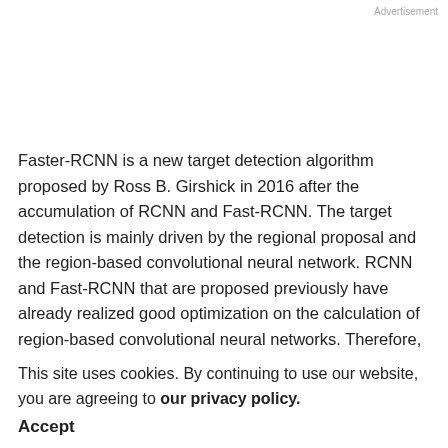Advertisement
Faster-RCNN is a new target detection algorithm proposed by Ross B. Girshick in 2016 after the accumulation of RCNN and Fast-RCNN. The target detection is mainly driven by the regional proposal and the region-based convolutional neural network. RCNN and Fast-RCNN that are proposed previously have already realized good optimization on the calculation of region-based convolutional neural networks. Therefore, the
This site uses cookies. By continuing to use our website, you are agreeing to our privacy policy. Accept
Faster-RCNN introduced a region proposal network and